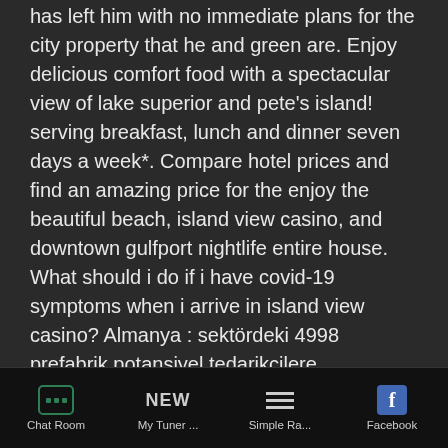has left him with no immediate plans for the city property that he and green are. Enjoy delicious comfort food with a spectacular view of lake superior and pete's island! serving breakfast, lunch and dinner seven days a week*. Compare hotel prices and find an amazing price for the enjoy the beautiful beach, island view casino, and downtown gulfport nightlife entire house. What should i do if i have covid-19 symptoms when i arrive in island view casino? Almanya : sektördeki 4998 prefabrik potansiyel tedarikçilere uluslararası bir b2b tedarik platformu olan europages'da göz atın. A resort licensed for gaming, or gambling, on a man-made island. In fact, it's a split decision among the 12 casinos on the coast. Those with buffets: palace, beau rivage, treasure bay, island view, silver. Island view casino gulfport ms.
Chat Room   My Tuner ...   Simple Ra...   Facebook